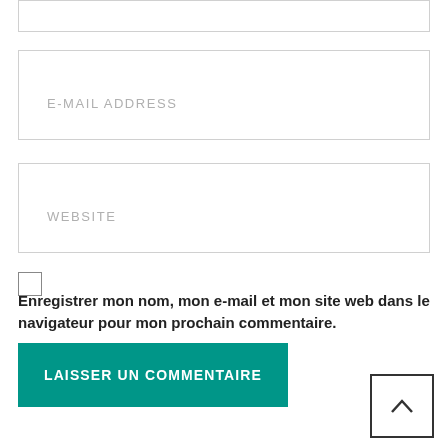[Figure (screenshot): Top partial input box border visible at top of page]
[Figure (screenshot): E-MAIL ADDRESS input field with placeholder text]
[Figure (screenshot): WEBSITE input field with placeholder text]
[Figure (screenshot): Checkbox (unchecked)]
Enregistrer mon nom, mon e-mail et mon site web dans le navigateur pour mon prochain commentaire.
[Figure (screenshot): LAISSER UN COMMENTAIRE teal submit button]
[Figure (screenshot): Back to top button with up arrow caret, bottom right corner]